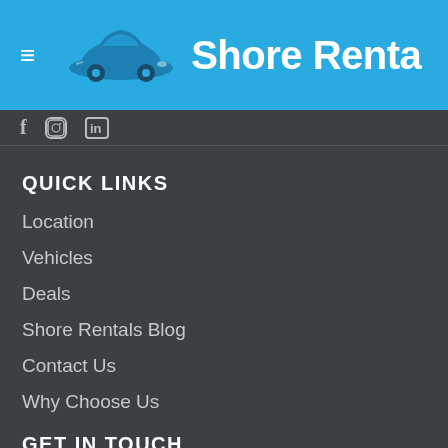Shore Renta
[Figure (logo): Shore Rentals car rental website header with car icon logo and brand name 'Shore Renta' on blue background with hamburger menu icon]
QUICK LINKS
Location
Vehicles
Deals
Shore Rentals Blog
Contact Us
Why Choose Us
GET IN TOUCH
NZ (09) 4880920